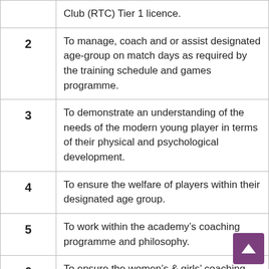|  | Club (RTC) Tier 1 licence. |
| 2 | To manage, coach and or assist designated age-group on match days as required by the training schedule and games programme. |
| 3 | To demonstrate an understanding of the needs of the modern young player in terms of their physical and psychological development. |
| 4 | To ensure the welfare of players within their designated age group. |
| 5 | To work within the academy’s coaching programme and philosophy. |
| 6 | To ensure the women’s & girls’ coaching programme adheres to and exceeds all club standards and FA RTC Tier 1 licence |